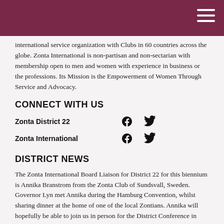international service organization with Clubs in 60 countries across the globe. Zonta International is non-partisan and non-sectarian with membership open to men and women with experience in business or the professions. Its Mission is the Empowerment of Women Through Service and Advocacy.
CONNECT WITH US
Zonta District 22 [Facebook] [Twitter]
Zonta International [Facebook] [Twitter]
DISTRICT NEWS
The Zonta International Board Liaison for District 22 for this biennium is Annika Branstrom from the Zonta Club of Sundsvall, Sweden. Governor Lyn met Annika during the Hamburg Convention, whilst sharing dinner at the home of one of the local Zontians. Annika will hopefully be able to join us in person for the District Conference in 2023. The Clubs in District 22 are currently making preparations for the 16 days of activism to eliminate violence against women and girls